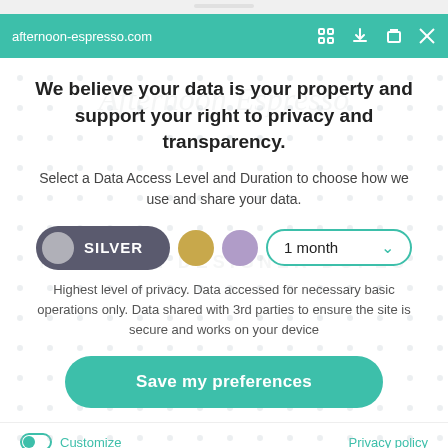afternoon-espresso.com
We believe your data is your property and support your right to privacy and transparency.
Select a Data Access Level and Duration to choose how we use and share your data.
[Figure (infographic): Data access level selector showing SILVER (selected/active toggle), GOLD circle, PURPLE circle, and a 1 month duration dropdown]
Highest level of privacy. Data accessed for necessary basic operations only. Data shared with 3rd parties to ensure the site is secure and works on your device
Save my preferences
Customize   Privacy policy